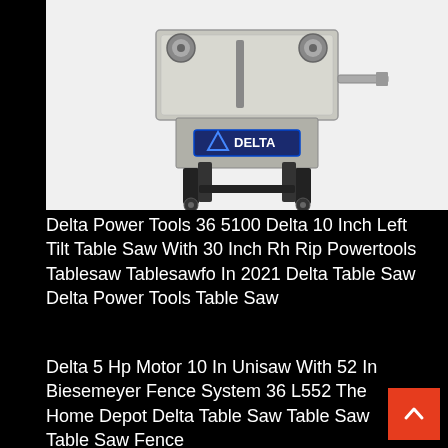[Figure (photo): Delta brand table saw (model 36-5100) with black stand and wheels, silver/grey top, two adjustment knobs visible, on white background]
Delta Power Tools 36 5100 Delta 10 Inch Left Tilt Table Saw With 30 Inch Rh Rip Powertools Tablesaw Tablesawfo In 2021 Delta Table Saw Delta Power Tools Table Saw
Delta 5 Hp Motor 10 In Unisaw With 52 In Biesemeyer Fence System 36 L552 The Home Depot Delta Table Saw Table Saw Table Saw Fence